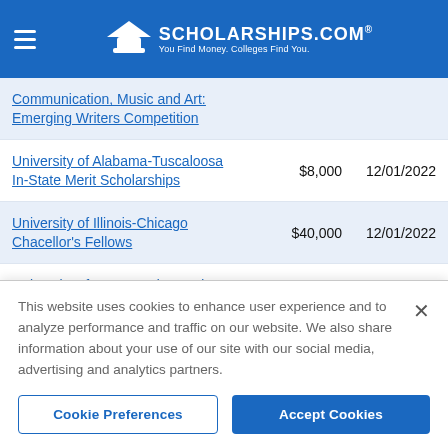SCHOLARSHIPS.COM® — You Find Money. Colleges Find You.
Communication, Music and Art: Emerging Writers Competition
University of Alabama-Tuscaloosa In-State Merit Scholarships — $8,000 — 12/01/2022
University of Illinois-Chicago Chacellor's Fellows — $40,000 — 12/01/2022
University of Iowa Need-Based Academic Award — Varies — 12/01/2022
This website uses cookies to enhance user experience and to analyze performance and traffic on our website. We also share information about your use of our site with our social media, advertising and analytics partners.
Cookie Preferences | Accept Cookies